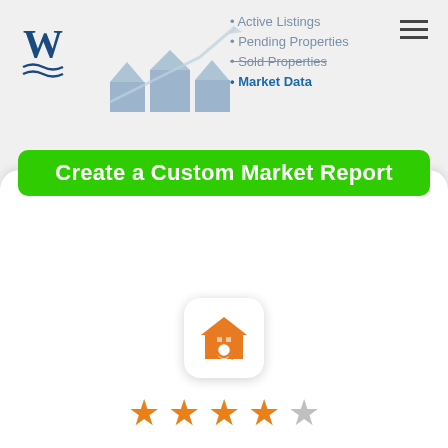[Figure (logo): Waterfront Realty Group W logo in blue]
[Figure (illustration): Real estate houses with upward trending arrow chart graphic]
Active Listings
Pending Properties
Sold Properties
Market Data
[Figure (other): Hamburger menu icon (three horizontal lines)]
[Figure (other): Create a Custom Market Report green button]
[Figure (illustration): Orange house with magnifying glass app icon]
[Figure (other): 4 out of 5 orange stars rating]
Get instant property alerts for www.waterfrealtygroup.com
[Figure (other): Get the MoveTo App orange button]
Not Now